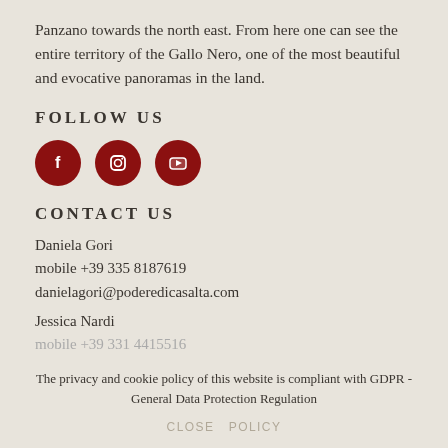Panzano towards the north east. From here one can see the entire territory of the Gallo Nero, one of the most beautiful and evocative panoramas in the land.
FOLLOW US
[Figure (infographic): Three dark red circular social media icons: Facebook (f), Instagram (camera), YouTube (play button)]
CONTACT US
Daniela Gori
mobile +39 335 8187619
danielagori@poderedicasalta.com
Jessica Nardi
mobile +39 331 4415516
The privacy and cookie policy of this website is compliant with GDPR - General Data Protection Regulation
CLOSE  POLICY